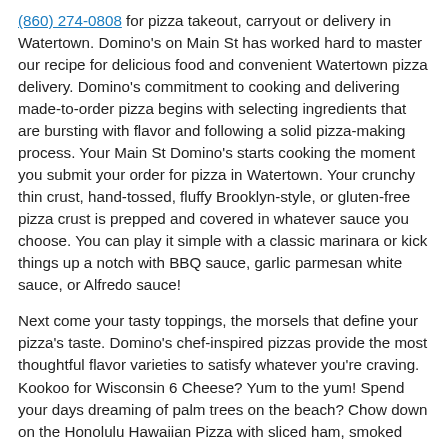(860) 274-0808 for pizza takeout, carryout or delivery in Watertown. Domino's on Main St has worked hard to master our recipe for delicious food and convenient Watertown pizza delivery. Domino's commitment to cooking and delivering made-to-order pizza begins with selecting ingredients that are bursting with flavor and following a solid pizza-making process. Your Main St Domino's starts cooking the moment you submit your order for pizza in Watertown. Your crunchy thin crust, hand-tossed, fluffy Brooklyn-style, or gluten-free pizza crust is prepped and covered in whatever sauce you choose. You can play it simple with a classic marinara or kick things up a notch with BBQ sauce, garlic parmesan white sauce, or Alfredo sauce!
Next come your tasty toppings, the morsels that define your pizza's taste. Domino's chef-inspired pizzas provide the most thoughtful flavor varieties to satisfy whatever you're craving. Kookoo for Wisconsin 6 Cheese? Yum to the yum! Spend your days dreaming of palm trees on the beach? Chow down on the Honolulu Hawaiian Pizza with sliced ham, smoked and crispy bacon, pineapple, and more! Prefer veggies to meat? Domino's has vegetarian pizzas just for you. Enjoy the Spinach & Feta with creamy Alfredo Sauce, or the Pacific Veggie that has almost